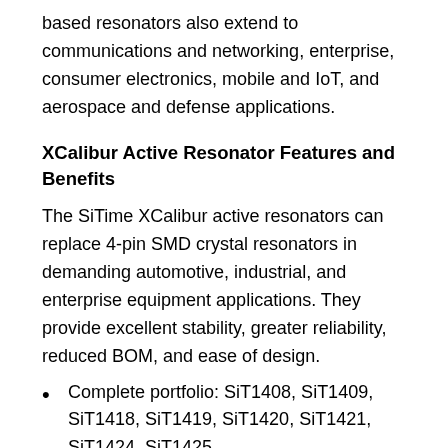based resonators also extend to communications and networking, enterprise, consumer electronics, mobile and IoT, and aerospace and defense applications.
XCalibur Active Resonator Features and Benefits
The SiTime XCalibur active resonators can replace 4-pin SMD crystal resonators in demanding automotive, industrial, and enterprise equipment applications. They provide excellent stability, greater reliability, reduced BOM, and ease of design.
Complete portfolio: SiT1408, SiT1409, SiT1418, SiT1419, SiT1420, SiT1421, SiT1424, SiT1425
Drop-in replacement for a wide variety of 4-pin crystal resonators offered by leading suppliers